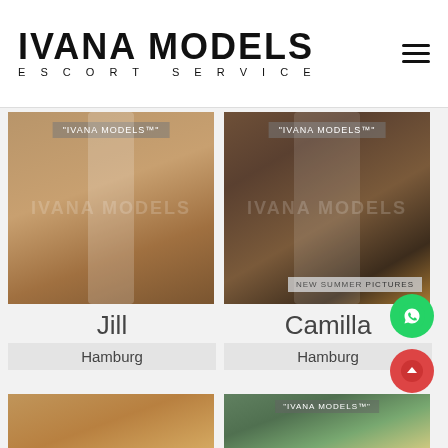IVANA MODELS ESCORT SERVICE
[Figure (photo): Blonde woman in gold lingerie posing indoors with watermark IVANA MODELS]
Jill
Hamburg
[Figure (photo): Dark-haired woman in gold dress posing on rocks outdoors with watermark IVANA MODELS and NEW SUMMER PICTURES badge]
Camilla
Hamburg
[Figure (photo): Partial view of bottom-left model photo]
[Figure (photo): Partial view of bottom-right model photo with IVANA MODELS watermark]